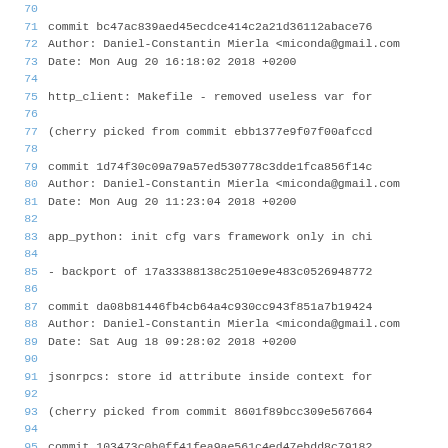Git log output showing commit history lines 70-98, with commit hashes, authors (Daniel-Constantin Mierla <miconda@gmail.com>), dates, and commit messages for various commits including http_client Makefile fix, app_python init cfg vars framework, jsonrpcs store id attribute, and commit 103473c0b0ff41fea9ae561c4ed47ebdd8c79182.